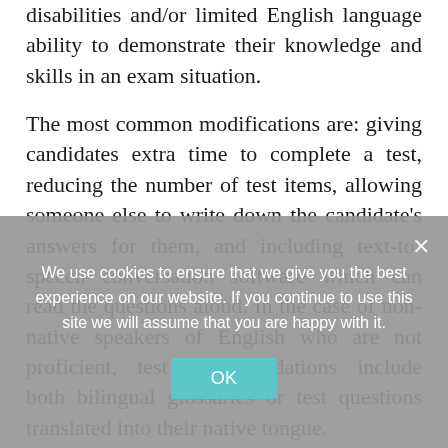disabilities and/or limited English language ability to demonstrate their knowledge and skills in an exam situation.
The most common modifications are: giving candidates extra time to complete a test, reducing the number of test items, allowing someone else to write down the candidate's answers for them, and including text-to-speech conversation software which can read the questions aloud. In the case of non-native speakers of English who are not proficient, test accommodations include both bilingual glossaries or test questions translated into their native tongue.
We use cookies to ensure that we give you the best experience on our website. If you continue to use this site we will assume that you are happy with it.